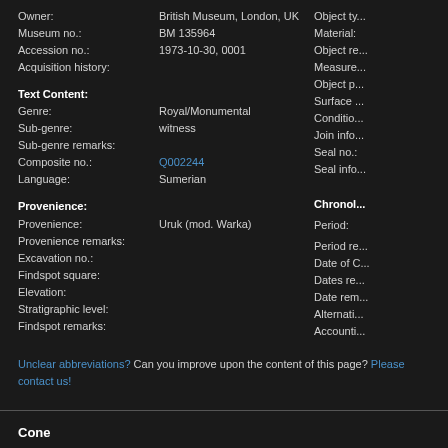| Owner: | British Museum, London, UK | Object ty... |
| Museum no.: | BM 135964 | Material: |
| Accession no.: | 1973-10-30, 0001 | Object re... |
| Acquisition history: |  | Measure... |
|  |  | Object p... |
| Text Content: |  | Surface ... |
| Genre: | Royal/Monumental | Conditio... |
| Sub-genre: | witness | Join info... |
| Sub-genre remarks: |  | Seal no.: |
| Composite no.: | Q002244 | Seal info... |
| Language: | Sumerian |  |
| Provenience: |  | Chronol... |
| Provenience: | Uruk (mod. Warka) | Period: |
| Provenience remarks: |  | Period re... |
| Excavation no.: |  | Date of C... |
| Findspot square: |  | Dates re... |
| Elevation: |  | Date rem... |
| Stratigraphic level: |  | Alternati... |
| Findspot remarks: |  | Accounti... |
Unclear abbreviations? Can you improve upon the content of this page? Please contact us!
Cone